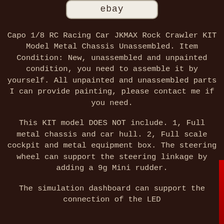ebay
Capo 1/8 RC Racing Car JKMAX Rock Crawler KIT Model Metal Chassis Unassembled. Item Condition: New, unassembled and unpainted condition, you need to assemble it by yourself. All unpainted and unassembled parts I can provide painting, please contact me if you need.
This KIT model DOES NOT include. 1, Full metal chassis and car hull. 2, Full scale cockpit and metal equipment box. The steering wheel can support the steering linkage by adding a 9g Mini rudder.
The simulation dashboard can support the connection of the LED